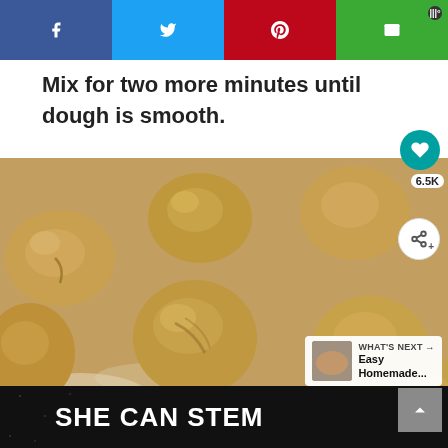[Figure (other): Social media share bar with Facebook (blue), Twitter (light blue), Pinterest (red), and email/other (green) buttons]
Mix for two more minutes until dough is smooth.
[Figure (photo): Photo of multiple dough balls on a floured surface, with overlay UI elements: heart button (6.5K likes), share button, 'WHAT'S NEXT -> Easy Homemade...' card, and scroll-up arrow button]
[Figure (other): Dark background advertisement banner reading 'SHE CAN STEM' with a small logo on the right]